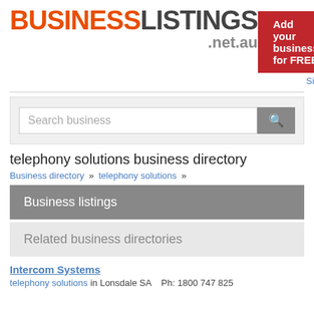[Figure (logo): BusinessListings.net.au logo with BUSINESS in orange and LISTINGS in dark grey, bold large text, and .net.au below in grey]
Add your business for FREE
Sign in
Search business
telephony solutions business directory
Business directory » telephony solutions »
Business listings
Related business directories
Intercom Systems
telephony solutions in Lonsdale SA   Ph: 1800 747 825